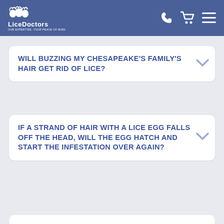LiceDoctors — Our Expertise. Your Peace of Mind.
WILL BUZZING MY CHESAPEAKE'S FAMILY'S HAIR GET RID OF LICE?
IF A STRAND OF HAIR WITH A LICE EGG FALLS OFF THE HEAD, WILL THE EGG HATCH AND START THE INFESTATION OVER AGAIN?